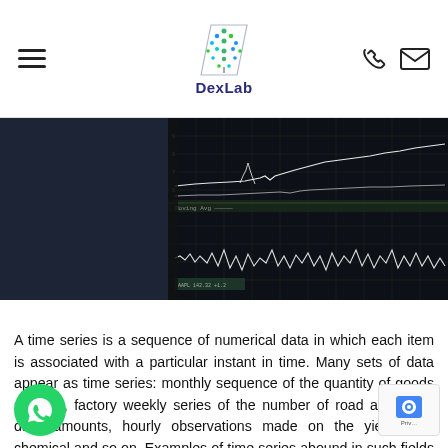DexLab
[Figure (photo): A monitor displaying multiple financial or data time-series charts with white lines on dark background, photographed in a dark room.]
A time series is a sequence of numerical data in which each item is associated with a particular instant in time. Many sets of data appear as time series: monthly sequence of the quantity of goods shipped, factory weekly series of the number of road accidents, daily amounts, hourly observations made on the yield of a chemical and so on. Examples of time series abound in such fields as economics,